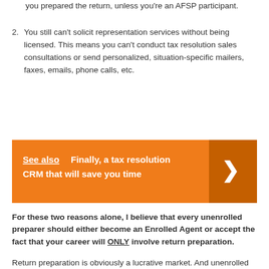you prepared the return, unless you're an AFSP participant.
2. You still can't solicit representation services without being licensed. This means you can't conduct tax resolution sales consultations or send personalized, situation-specific mailers, faxes, emails, phone calls, etc.
[Figure (infographic): Orange banner with 'See also  Finally, a tax resolution CRM that will save you time' and a right-pointing chevron arrow on darker orange background]
For these two reasons alone, I believe that every unenrolled preparer should either become an Enrolled Agent or accept the fact that your career will ONLY involve return preparation.
Return preparation is obviously a lucrative market. And unenrolled preparers that conduct tax resolution-style